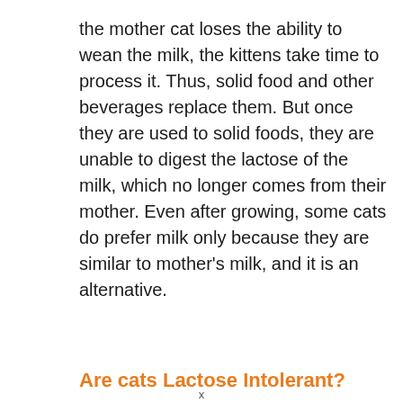the mother cat loses the ability to wean the milk, the kittens take time to process it. Thus, solid food and other beverages replace them. But once they are used to solid foods, they are unable to digest the lactose of the milk, which no longer comes from their mother. Even after growing, some cats do prefer milk only because they are similar to mother's milk, and it is an alternative.
Are cats Lactose Intolerant?